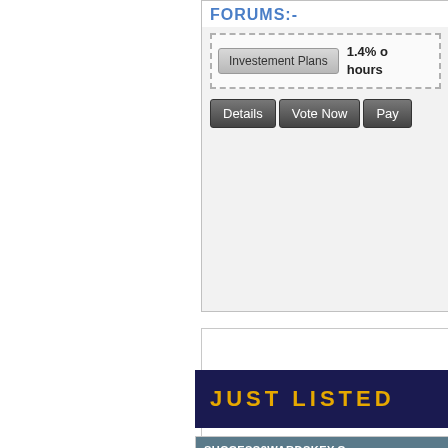FORUMS:-
[Figure (screenshot): Investment listing card with 'Investement Plans' button, '1.4% hours' rate text, and action buttons: Details, Vote Now, Pay]
[Figure (screenshot): Empty white card area]
JUST LISTED
[Figure (screenshot): SUCCESS2WARDSKEY.C listing card with screenshot image link, and detail rows for Inv, Pa, Mi, Ma, Re fields]